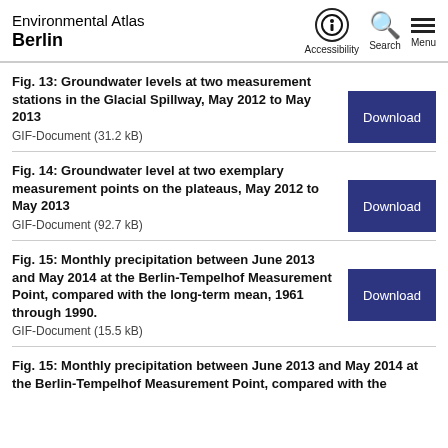Environmental Atlas Berlin
Fig. 13: Groundwater levels at two measurement stations in the Glacial Spillway, May 2012 to May 2013
GIF-Document (31.2 kB)
Fig. 14: Groundwater level at two exemplary measurement points on the plateaus, May 2012 to May 2013
GIF-Document (92.7 kB)
Fig. 15: Monthly precipitation between June 2013 and May 2014 at the Berlin-Tempelhof Measurement Point, compared with the long-term mean, 1961 through 1990.
GIF-Document (15.5 kB)
Fig. 15: Monthly precipitation between June 2013 and May 2014 at the Berlin-Tempelhof Measurement Point, compared with the